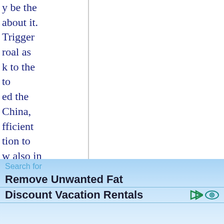y be the about it. Trigger roal as k to the to ed the China, fficient tion to w also in chmark r to Asia, v Europe, or melt ure it can ermany, ions now er but
Search for
Remove Unwanted Fat
Discount Vacation Rentals